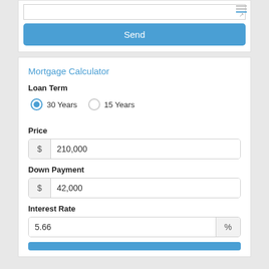[Figure (screenshot): Top portion of a web form with a textarea and a Send button, with a hamburger/menu icon in the top right corner of the text input area.]
Mortgage Calculator
Loan Term
30 Years  15 Years
Price
$ 210,000
Down Payment
$ 42,000
Interest Rate
5.66 %